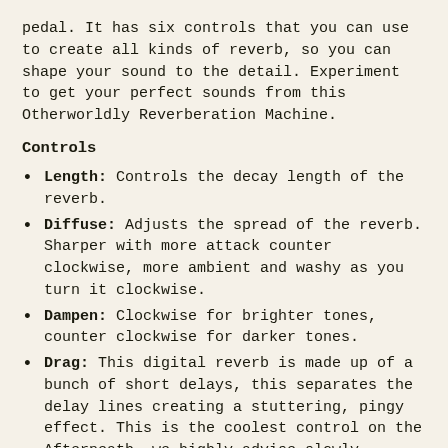pedal. It has six controls that you can use to create all kinds of reverb, so you can shape your sound to the detail. Experiment to get your perfect sounds from this Otherworldly Reverberation Machine.
Controls
Length: Controls the decay length of the reverb.
Diffuse: Adjusts the spread of the reverb. Sharper with more attack counter clockwise, more ambient and washy as you turn it clockwise.
Dampen: Clockwise for brighter tones, counter clockwise for darker tones.
Drag: This digital reverb is made up of a bunch of short delays, this separates the delay lines creating a stuttering, pingy effect. This is the coolest control on the Afterneath, we highly advise slowly turning this while you let notes ring out for a cool warped speed effect. More delay as you turn it counter clockwise, more reverb as you turn it clockwise.
Reflect: Controls the regeneration of the reverb, turn clockwise for more wash and echos, counterclockwise for less. This will self oscillate if turned up high.